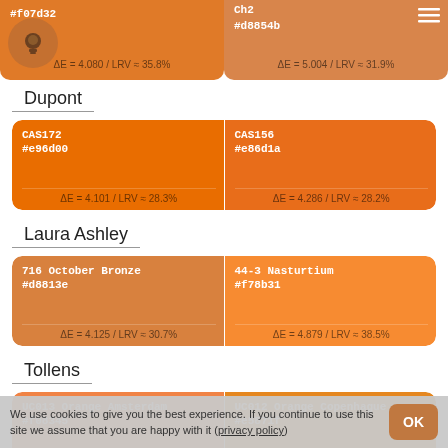[Figure (infographic): Partial color swatch card left: #f07d32, ΔE = 4.080 / LRV ≈ 35.8%]
[Figure (infographic): Partial color swatch card right: Ch2, #d8854b, ΔE = 5.004 / LRV ≈ 31.9%]
Dupont
[Figure (infographic): CAS172 #e96d00 ΔE=4.101/LRV≈28.3% | CAS156 #e86d1a ΔE=4.286/LRV≈28.2%]
Laura Ashley
[Figure (infographic): 716 October Bronze #d8813e ΔE=4.125/LRV≈30.7% | 44-3 Nasturtium #f78b31 ΔE=4.879/LRV≈38.5%]
Tollens
[Figure (infographic): UC013 Orange Amsterdam #f08345 ΔE=4.185/LRV≈35.2% | UC012 Orange Copenhague #e5871f ΔE=4.503/LRV≈34.1%]
We use cookies to give you the best experience. If you continue to use this site we assume that you are happy with it (privacy policy)